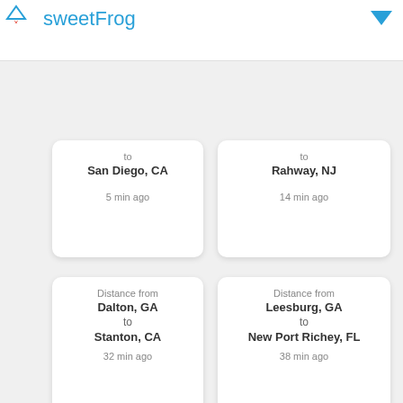sweetFrog
to San Diego, CA
5 min ago
to Rahway, NJ
14 min ago
Distance from Dalton, GA to Stanton, CA
32 min ago
Distance from Leesburg, GA to New Port Richey, FL
38 min ago
Distance from Anaconda, MT to Red Lodge, MT
43 min ago
Distance from Knoxville, TN to Cleveland, OH
1 hour ago